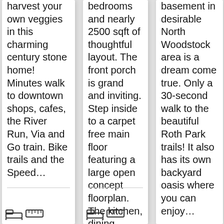harvest your own veggies in this charming century stone home! Minutes walk to downtown shops, cafes, the River Run, Via and Go train. Bike trails and the Speed…
bedrooms and nearly 2500 sqft of thoughtful layout. The front porch is grand and inviting. Step inside to a carpet free main floor featuring a large open concept floorplan. The kitchen, dining…
basement in desirable North Woodstock area is a dream come true. Only a 30-second walk to the beautiful Roth Park trails! It also has its own backyard oasis where you can enjoy…